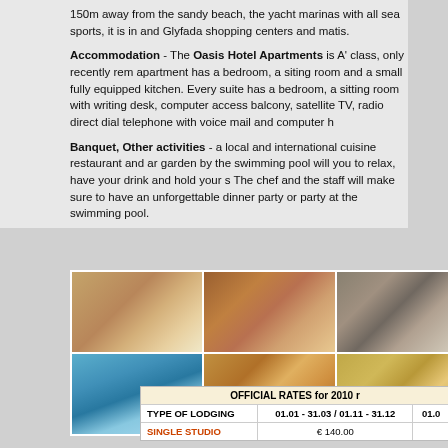150m away from the sandy beach, the yacht marinas with all sea sports, it is in and Glyfada shopping centers and matis.
Accommodation - The Oasis Hotel Apartments is A' class, only recently rem apartment has a bedroom, a siting room and a small fully equipped kitchen. Every suite has a bedroom, a sitting room with writing desk, computer access balcony, satellite TV, radio direct dial telephone with voice mail and computer h
Banquet, Other activities - a local and international cuisine restaurant and ar garden by the swimming pool will you to relax, have your drink and hold your s The chef and the staff will make sure to have an unforgettable dinner party or party at the swimming pool.
[Figure (photo): Hotel room with bed]
[Figure (photo): Hotel pool exterior]
[Figure (photo): Hotel dining room top]
[Figure (photo): Hotel bar/lounge bottom]
[Figure (photo): Hotel lobby top]
[Figure (photo): Hotel lobby bottom warm]
| TYPE OF LODGING | 01.01 - 31.03 / 01.11 - 31.12 | 01.0 |
| --- | --- | --- |
| SINGLE STUDIO | € 140.00 |  |